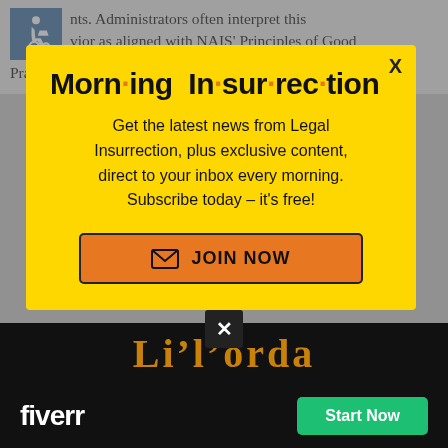nts. Administrators often interpret this behavior as aligned with NAIS' Principles of Good Practice, particularly "Equity and Justice".
[Figure (infographic): Morning Insurrection email subscription popup overlay on yellow background with orange JOIN NOW button]
advisory sessions to vote for Democrats.
Back to top
[Figure (logo): Fiverr advertisement bar with Start Now button]
[Figure (logo): Legal Insurrection partial logo visible at bottom]